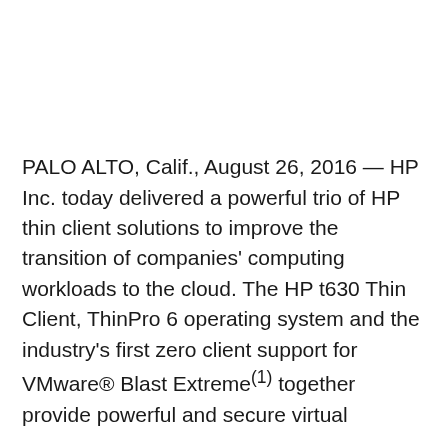PALO ALTO, Calif., August 26, 2016 — HP Inc. today delivered a powerful trio of HP thin client solutions to improve the transition of companies' computing workloads to the cloud. The HP t630 Thin Client, ThinPro 6 operating system and the industry's first zero client support for VMware® Blast Extreme(1) together provide powerful and secure virtual